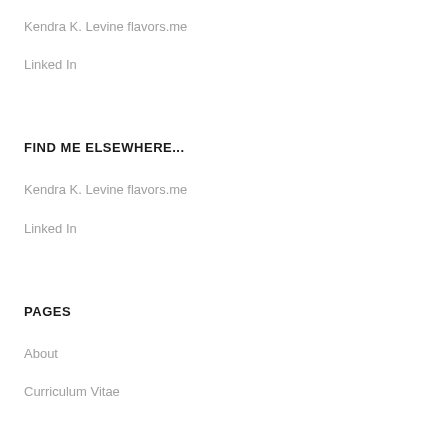Kendra K. Levine flavors.me
Linked In
FIND ME ELSEWHERE...
Kendra K. Levine flavors.me
Linked In
PAGES
About
Curriculum Vitae